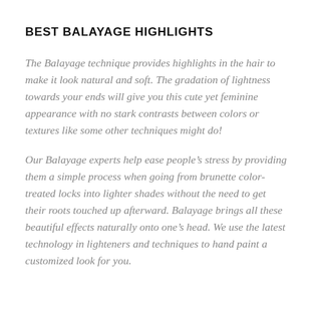BEST BALAYAGE HIGHLIGHTS
The Balayage technique provides highlights in the hair to make it look natural and soft. The gradation of lightness towards your ends will give you this cute yet feminine appearance with no stark contrasts between colors or textures like some other techniques might do!
Our Balayage experts help ease people’s stress by providing them a simple process when going from brunette color-treated locks into lighter shades without the need to get their roots touched up afterward. Balayage brings all these beautiful effects naturally onto one’s head. We use the latest technology in lighteners and techniques to hand paint a customized look for you.